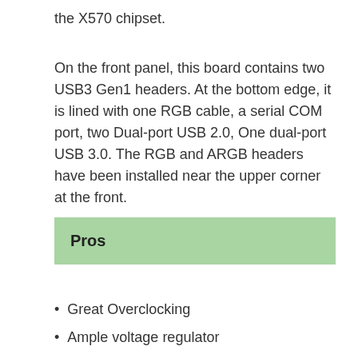the X570 chipset.
On the front panel, this board contains two USB3 Gen1 headers. At the bottom edge, it is lined with one RGB cable, a serial COM port, two Dual-port USB 2.0, One dual-port USB 3.0. The RGB and ARGB headers have been installed near the upper corner at the front.
Pros
Great Overclocking
Ample voltage regulator